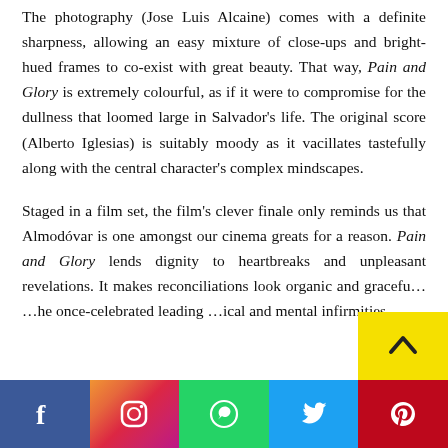The photography (Jose Luis Alcaine) comes with a definite sharpness, allowing an easy mixture of close-ups and bright-hued frames to co-exist with great beauty. That way, Pain and Glory is extremely colourful, as if it were to compromise for the dullness that loomed large in Salvador's life. The original score (Alberto Iglesias) is suitably moody as it vacillates tastefully along with the central character's complex mindscapes.

Staged in a film set, the film's clever finale only reminds us that Almodóvar is one amongst our cinema greats for a reason. Pain and Glory lends dignity to heartbreaks and unpleasant revelations. It makes reconciliations look organic and graceful... the once-celebrated leading ...ical and mental infirmities
[Figure (infographic): Social media sharing buttons bar at the bottom: Facebook (blue), Instagram (gradient), WhatsApp (green), Twitter (blue), Pinterest (red). Also a yellow scroll-to-top button with an upward chevron arrow.]